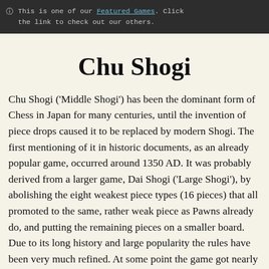🛈  This is one of our Featured Games. Click the link to check out our others.
Chu Shogi
Chu Shogi ('Middle Shogi') has been the dominant form of Chess in Japan for many centuries, until the invention of piece drops caused it to be replaced by modern Shogi. The first mentioning of it in historic documents, as an already popular game, occurred around 1350 AD. It was probably derived from a larger game, Dai Shogi ('Large Shogi'), by abolishing the eight weakest piece types (16 pieces) that all promoted to the same, rather weak piece as Pawns already do, and putting the remaining pieces on a smaller board. Due to its long history and large popularity the rules have been very much refined. At some point the game got nearly extinct, and the rules